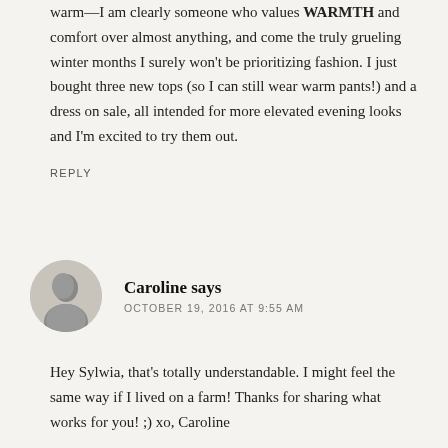warm—I am clearly someone who values WARMTH and comfort over almost anything, and come the truly grueling winter months I surely won't be prioritizing fashion. I just bought three new tops (so I can still wear warm pants!) and a dress on sale, all intended for more elevated evening looks and I'm excited to try them out.
REPLY
Caroline says
OCTOBER 19, 2016 AT 9:55 AM
Hey Sylwia, that's totally understandable. I might feel the same way if I lived on a farm! Thanks for sharing what works for you! ;) xo, Caroline